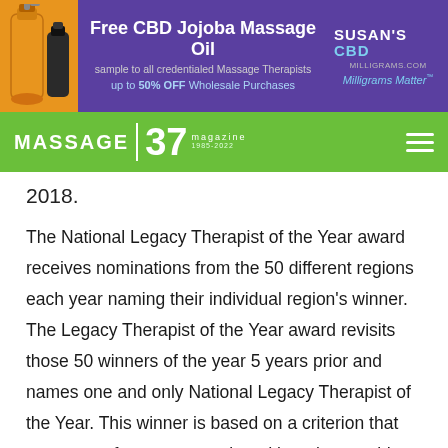[Figure (infographic): Banner advertisement for Susan's CBD Free CBD Jojoba Massage Oil — sample to all credentialed Massage Therapists, up to 50% OFF Wholesale Purchases. Features orange bottle images on left, purple background, and Susan's CBD Milligrams Matter logo on right.]
MASSAGE magazine | 37 | 1985-2022
2018.
The National Legacy Therapist of the Year award receives nominations from the 50 different regions each year naming their individual region's winner. The Legacy Therapist of the Year award revisits those 50 winners of the year 5 years prior and names one and only National Legacy Therapist of the Year. This winner is based on a criterion that gauges performance, continued learning, world class service and overall contributions to the organization. This year, Carmen Paiz, lead therapist at Massage Envy Spa in Murrieta, California, is the recipient